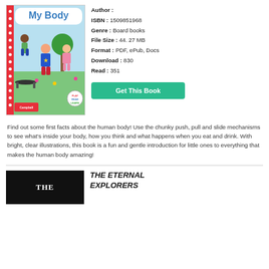[Figure (illustration): Children's book cover for 'My Body' showing kids playing outdoors with a trampoline, published by Campbell]
Author :
ISBN : 1509851968
Genre : Board books
File Size : 44. 27 MB
Format : PDF, ePub, Docs
Download : 830
Read : 351
Get This Book
Find out some first facts about the human body! Use the chunky push, pull and slide mechanisms to see what's inside your body, how you think and what happens when you eat and drink. With bright, clear illustrations, this book is a fun and gentle introduction for little ones to everything that makes the human body amazing!
[Figure (photo): Book cover for 'The Eternal Explorers' with dark background and white text]
THE ETERNAL EXPLORERS